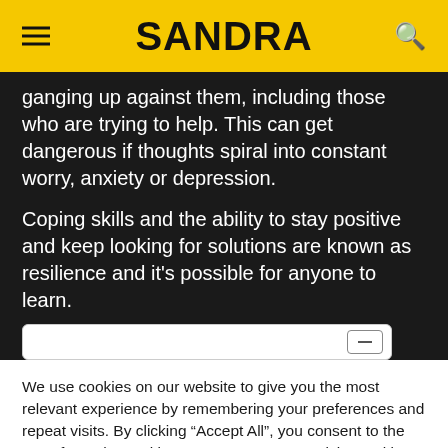SANDRA
ganging up against them, including those who are trying to help. This can get dangerous if thoughts spiral into constant worry, anxiety or depression.
Coping skills and the ability to stay positive and keep looking for solutions are known as resilience and it's possible for anyone to learn.
We use cookies on our website to give you the most relevant experience by remembering your preferences and repeat visits. By clicking "Accept All", you consent to the use of ALL the cookies. However, you may visit "Cookie Settings" to provide a controlled consent.